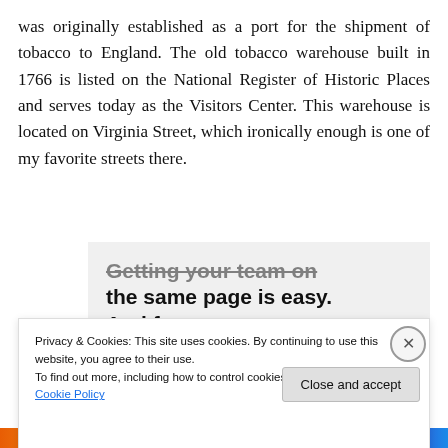was originally established as a port for the shipment of tobacco to England. The old tobacco warehouse built in 1766 is listed on the National Register of Historic Places and serves today as the Visitors Center. This warehouse is located on Virginia Street, which ironically enough is one of my favorite streets there.
[Figure (infographic): Advertisement banner with bold text 'Getting your team on the same page is easy. And free.' with profile photo avatars below]
Privacy & Cookies: This site uses cookies. By continuing to use this website, you agree to their use.
To find out more, including how to control cookies, see here: Cookie Policy
Close and accept